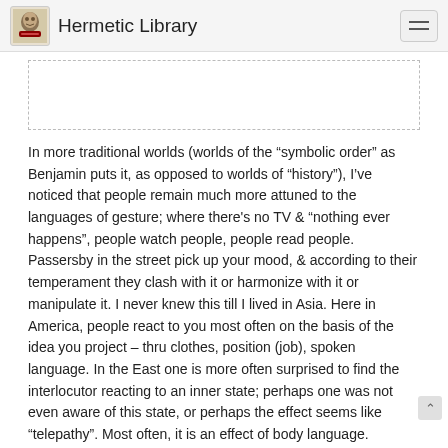Hermetic Library
[Figure (other): Dotted-border placeholder box, likely for an image]
In more traditional worlds (worlds of the “symbolic order” as Benjamin puts it, as opposed to worlds of “history”), I’ve noticed that people remain much more attuned to the languages of gesture; where there’s no TV & “nothing ever happens”, people watch people, people read people. Passersby in the street pick up your mood, & according to their temperament they clash with it or harmonize with it or manipulate it. I never knew this till I lived in Asia. Here in America, people react to you most often on the basis of the idea you project – thru clothes, position (job), spoken language. In the East one is more often surprised to find the interlocutor reacting to an inner state; perhaps one was not even aware of this state, or perhaps the effect seems like “telepathy”. Most often, it is an effect of body language.
I’ve heard it said that the Mediterranean & Mideast worlds evolved a complex phenomenology of the mal occhio because they are more given to envy than we Notherners. But the Evil Eye is a universal concept, missing not in any space (such as the chill & rational North)